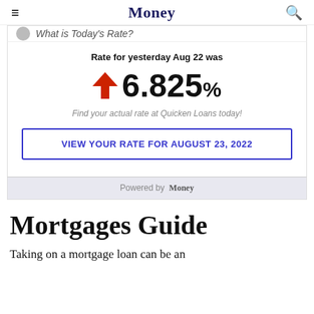Money
What is Today's Rate?
Rate for yesterday Aug 22 was
6.825%
Find your actual rate at Quicken Loans today!
VIEW YOUR RATE FOR AUGUST 23, 2022
Powered by Money
Mortgages Guide
Taking on a mortgage loan can be an